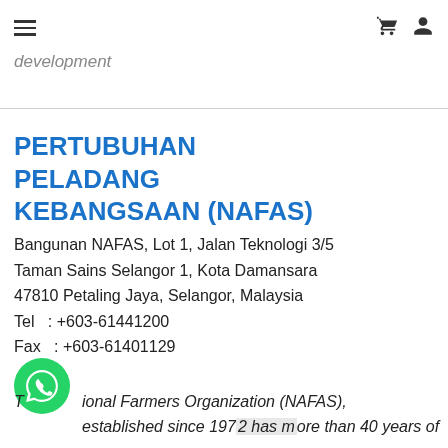≡  🛒  👤
development
PERTUBUHAN PELADANG KEBANGSAAN (NAFAS)
Bangunan NAFAS, Lot 1, Jalan Teknologi 3/5
Taman Sains Selangor 1, Kota Damansara
47810 Petaling Jaya, Selangor, Malaysia
Tel  : +603-61441200
Fax  : +603-61401129
[Figure (logo): WhatsApp green circular button with phone icon]
The National Farmers Organization (NAFAS), established since 1972 has more than 40 years of